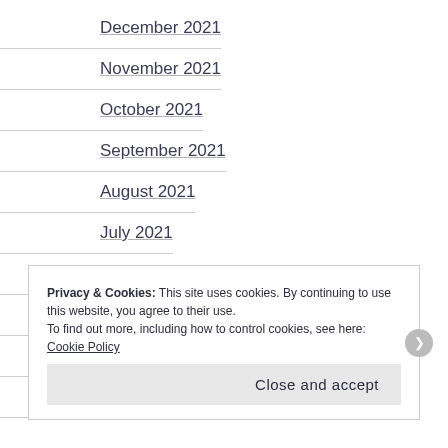December 2021
November 2021
October 2021
September 2021
August 2021
July 2021
June 2021
May 2021
April 2021
March 2021
Privacy & Cookies: This site uses cookies. By continuing to use this website, you agree to their use.
To find out more, including how to control cookies, see here: Cookie Policy
Close and accept